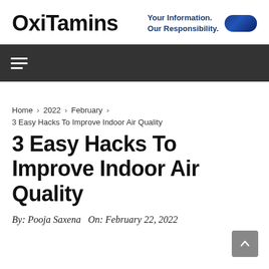OxiTamins — Your Information. Our Responsibility.
[Figure (logo): OxiTamins logo with tagline and blue pill graphic]
[Figure (other): Dark navigation bar with hamburger menu icon]
Home › 2022 › February ›
3 Easy Hacks To Improve Indoor Air Quality
3 Easy Hacks To Improve Indoor Air Quality
By: Pooja Saxena  On: February 22, 2022